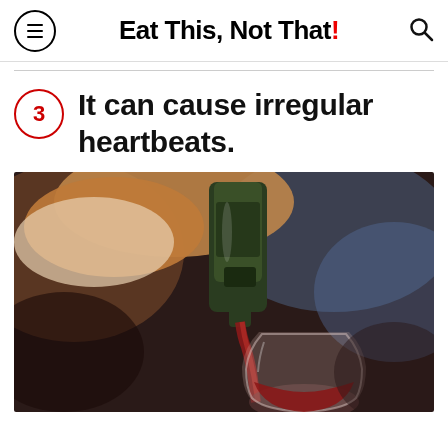Eat This, Not That!
3 It can cause irregular heartbeats.
[Figure (photo): Person pouring red wine from a dark green bottle into a stemless wine glass, close-up shot with dark blurred background.]